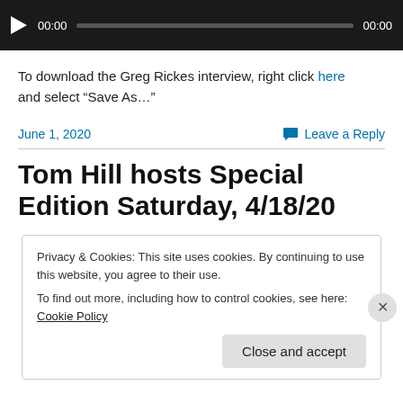[Figure (screenshot): Audio player bar with play button, time display 00:00, progress track, and end time 00:00 on dark background]
To download the Greg Rickes interview, right click here and select “Save As…”
June 1, 2020
Leave a Reply
Tom Hill hosts Special Edition Saturday, 4/18/20
Privacy & Cookies: This site uses cookies. By continuing to use this website, you agree to their use. To find out more, including how to control cookies, see here: Cookie Policy